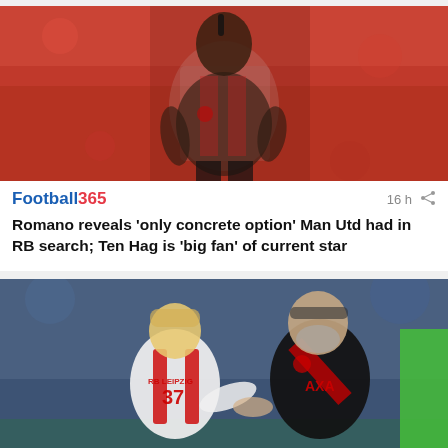[Figure (photo): A footballer wearing a Manchester United red, black and white kit, looking upward, in a stadium setting with blurred crowd in background.]
Football365   16 h
Romano reveals 'only concrete option' Man Utd had in RB search; Ten Hag is 'big fan' of current star
[Figure (photo): A RB Leipzig player wearing a white and red jersey with number 37 shaking hands with a man in a black Liverpool AXA training kit (Jurgen Klopp), with a goalkeeper in green partially visible on the right.]
Football365   17 h
25m RB Leipzig midfielder says Liverpool move 'too hasty'